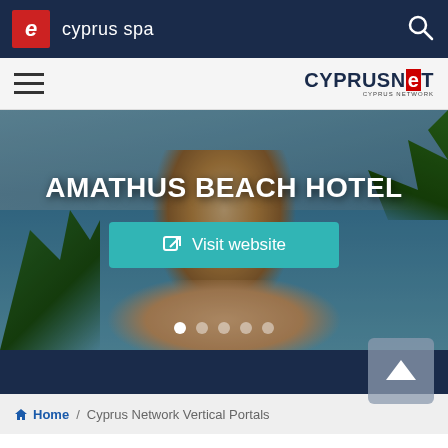e  cyprus spa
[Figure (screenshot): Website screenshot of Cyprus Spa portal featuring Amathus Beach Hotel with a hero image of a woman viewed from behind sitting by a pool with teal water, tropical plants visible on sides]
AMATHUS BEACH HOTEL
Visit website
Home / Cyprus Network Vertical Portals
Top Por...